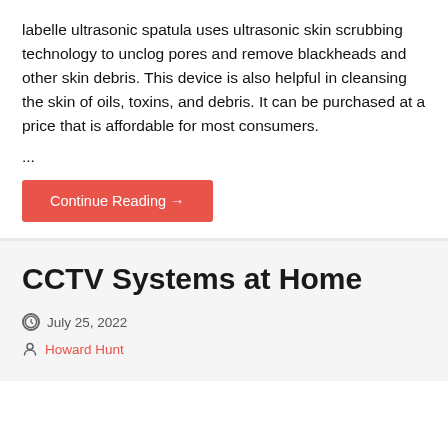labelle ultrasonic spatula uses ultrasonic skin scrubbing technology to unclog pores and remove blackheads and other skin debris. This device is also helpful in cleansing the skin of oils, toxins, and debris. It can be purchased at a price that is affordable for most consumers.
...
Continue Reading →
CCTV Systems at Home
July 25, 2022
Howard Hunt